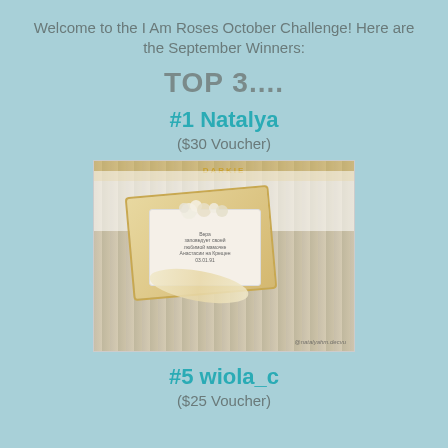Welcome to the I Am Roses October Challenge! Here are the September Winners:
TOP 3....
#1 Natalya
($30 Voucher)
[Figure (photo): Craft project photo showing a decorative gift box with lace, ribbon, flowers, and a small greeting card on a wooden surface, watermarked @natalyahm.decvu]
#5 wiola_c
($25 Voucher)